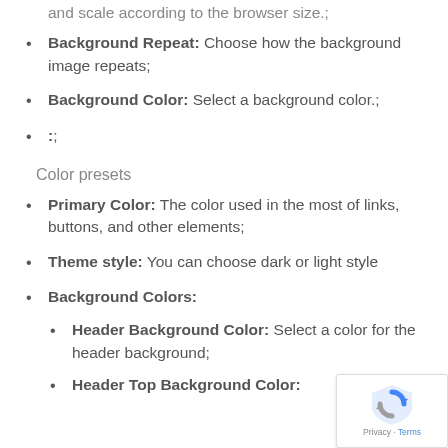and scale according to the browser size.;
Background Repeat: Choose how the background image repeats;
Background Color: Select a background color.;
:;
Color presets
Primary Color: The color used in the most of links, buttons, and other elements;
Theme style: You can choose dark or light style
Background Colors:
Header Background Color: Select a color for the header background;
Header Top Background Color: